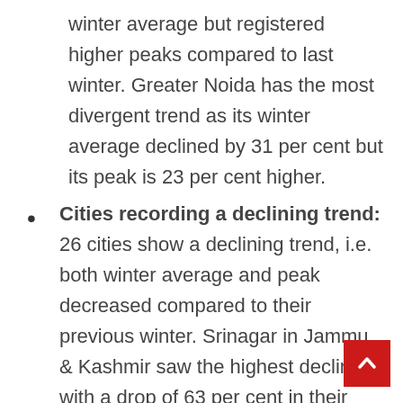winter average but registered higher peaks compared to last winter. Greater Noida has the most divergent trend as its winter average declined by 31 per cent but its peak is 23 per cent higher.
Cities recording a declining trend: 26 cities show a declining trend, i.e. both winter average and peak decreased compared to their previous winter. Srinagar in Jammu & Kashmir saw the highest decline with a drop of 63 per cent in their winter average and 33 per lower peak. Delhi also registered decline but marginal. Its winter average declined by 8 per cent and peak by 2 per cent. Other cities with declining trend include Bali, Punnagar, Alwar, Panipat, Hisar...